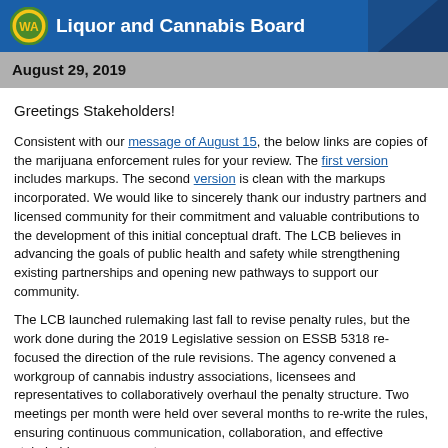Liquor and Cannabis Board
August 29, 2019
Greetings Stakeholders!
Consistent with our message of August 15, the below links are copies of the marijuana enforcement rules for your review. The first version includes markups. The second version is clean with the markups incorporated. We would like to sincerely thank our industry partners and licensed community for their commitment and valuable contributions to the development of this initial conceptual draft. The LCB believes in advancing the goals of public health and safety while strengthening existing partnerships and opening new pathways to support our community.
The LCB launched rulemaking last fall to revise penalty rules, but the work done during the 2019 Legislative session on ESSB 5318 re-focused the direction of the rule revisions. The agency convened a workgroup of cannabis industry associations, licensees and representatives to collaboratively overhaul the penalty structure. Two meetings per month were held over several months to re-write the rules, ensuring continuous communication, collaboration, and effective stakeholder engagement.